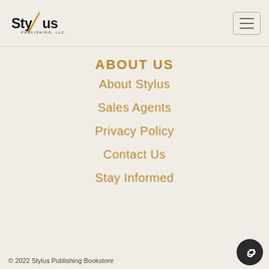Stylus Publishing, LLC
ABOUT US
About Stylus
Sales Agents
Privacy Policy
Contact Us
Stay Informed
© 2022 Stylus Publishing Bookstore